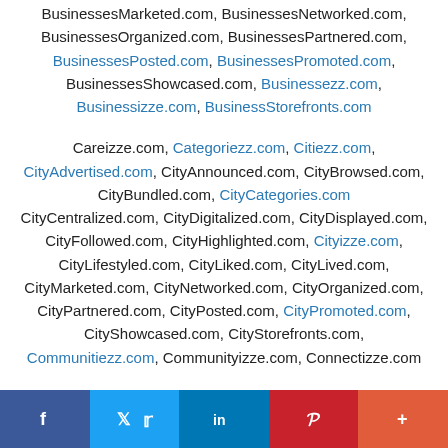BusinessesMarketed.com, BusinessesNetworked.com, BusinessesOrganized.com, BusinessesPartnered.com, BusinessesPosted.com, BusinessesPromoted.com, BusinessesShowcased.com, Businessezz.com, Businessizze.com, BusinessStorefronts.com
Careizze.com, Categoriezz.com, Citiezz.com, CityAdvertised.com, CityAnnounced.com, CityBrowsed.com, CityBundled.com, CityCategories.com CityCentralized.com, CityDigitalized.com, CityDisplayed.com, CityFollowed.com, CityHighlighted.com, Cityizze.com, CityLifestyled.com, CityLiked.com, CityLived.com, CityMarketed.com, CityNetworked.com, CityOrganized.com, CityPartnered.com, CityPosted.com, CityPromoted.com, CityShowcased.com, CityStorefronts.com, Communitiezz.com, Communityizze.com, Connectizze.com
DailyCategories.com, Dailyizze.com, Digitalizze.com,